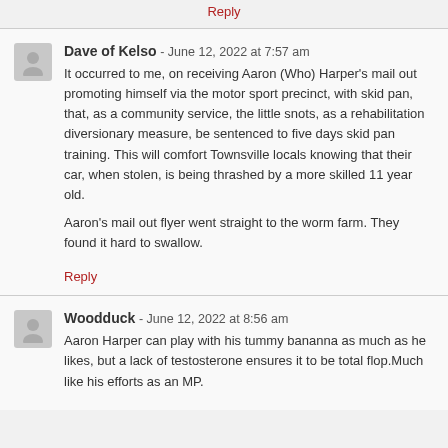Reply
Dave of Kelso - June 12, 2022 at 7:57 am
It occurred to me, on receiving Aaron (Who) Harper's mail out promoting himself via the motor sport precinct, with skid pan, that, as a community service, the little snots, as a rehabilitation diversionary measure, be sentenced to five days skid pan training. This will comfort Townsville locals knowing that their car, when stolen, is being thrashed by a more skilled 11 year old.

Aaron's mail out flyer went straight to the worm farm. They found it hard to swallow.
Reply
Woodduck - June 12, 2022 at 8:56 am
Aaron Harper can play with his tummy bananna as much as he likes, but a lack of testosterone ensures it to be total flop.Much like his efforts as an MP.